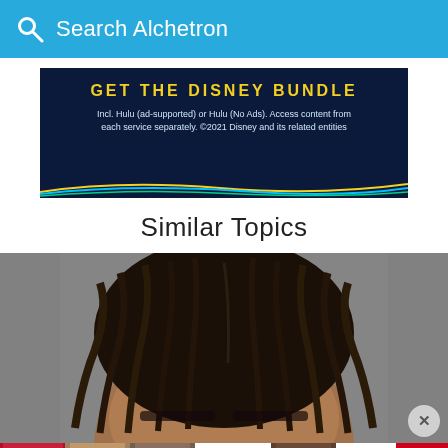Search Alchetron
[Figure (photo): Disney Bundle advertisement banner with dark navy background. Text reads 'GET THE DISNEY BUNDLE' in bold yellow letters, followed by smaller text: 'Incl. Hulu (ad-supported) or Hulu (No Ads). Access content from each service separately. ©2021 Disney and its related entities'. Decorative colored lines (green, blue, yellow) at the bottom.]
Similar Topics
[Figure (photo): Close-up photo of a woman's face with braided hair against a gray background, cropped to show top half of face.]
[Figure (photo): Bottom advertisement strip with beauty product thumbnails: red lips with makeup brush, eye makeup, Ulta Beauty logo, smoky eye makeup, SHOP NOW text, and id-19 badge.]